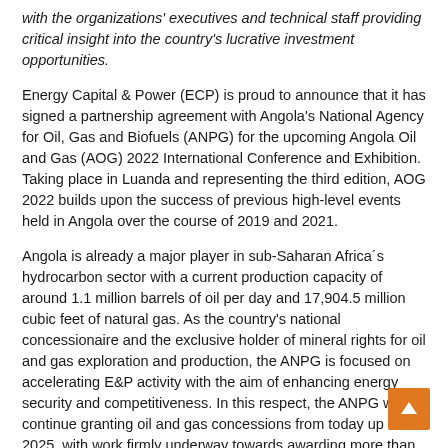with the organizations' executives and technical staff providing critical insight into the country's lucrative investment opportunities.
Energy Capital & Power (ECP) is proud to announce that it has signed a partnership agreement with Angola's National Agency for Oil, Gas and Biofuels (ANPG) for the upcoming Angola Oil and Gas (AOG) 2022 International Conference and Exhibition. Taking place in Luanda and representing the third edition, AOG 2022 builds upon the success of previous high-level events held in Angola over the course of 2019 and 2021.
Angola is already a major player in sub-Saharan Africa´s hydrocarbon sector with a current production capacity of around 1.1 million barrels of oil per day and 17,904.5 million cubic feet of natural gas. As the country's national concessionaire and the exclusive holder of mineral rights for oil and gas exploration and production, the ANPG is focused on accelerating E&P activity with the aim of enhancing energy security and competitiveness. In this respect, the ANPG will continue granting oil and gas concessions from today up until 2025, with work firmly underway towards awarding more than 50 exploration blocks from Angola´s deep waters to shallow basins.